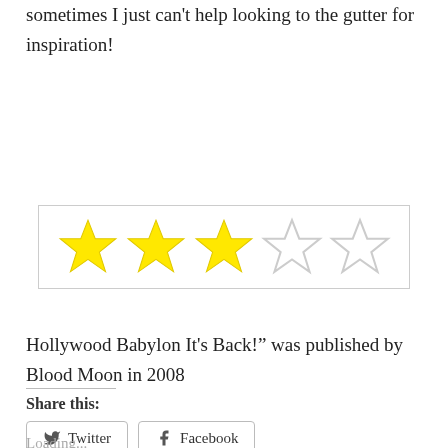sometimes I just can't help looking to the gutter for inspiration!
[Figure (other): Star rating: 3 out of 5 yellow stars, 2 empty outline stars, inside a bordered box]
Hollywood Babylon It's Back!" was published by Blood Moon in 2008
Share this:
Loading...